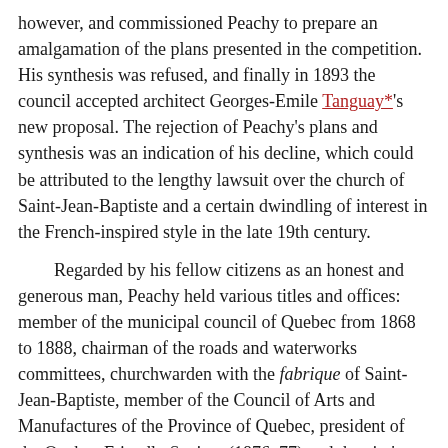however, and commissioned Peachy to prepare an amalgamation of the plans presented in the competition. His synthesis was refused, and finally in 1893 the council accepted architect Georges-Emile Tanguay*'s new proposal. The rejection of Peachy's plans and synthesis was an indication of his decline, which could be attributed to the lengthy lawsuit over the church of Saint-Jean-Baptiste and a certain dwindling of interest in the French-inspired style in the late 19th century.
Regarded by his fellow citizens as an honest and generous man, Peachy held various titles and offices: member of the municipal council of Quebec from 1868 to 1888, chairman of the roads and waterworks committees, churchwarden with the fabrique of Saint-Jean-Baptiste, member of the Council of Arts and Manufactures of the Province of Quebec, president of the Quebec Friendly Society (1876–77) and the city's Société Saint-Jean-Baptiste (1893–95), and founding member and president (1898) of the Architects' Association of the Province of Quebec.